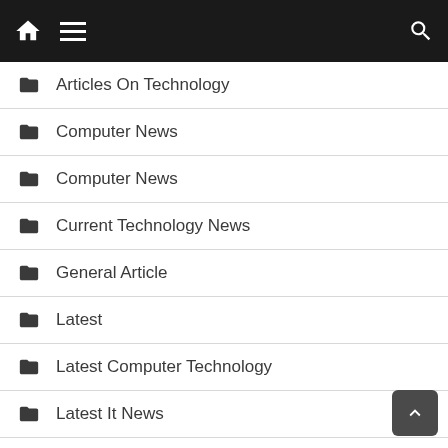Navigation bar with home, menu, and search icons
Articles On Technology
Computer News
Computer News
Current Technology News
General Article
Latest
Latest Computer Technology
Latest It News
Latest Technology
Latest Technology In Computer
Latest Technology Updates